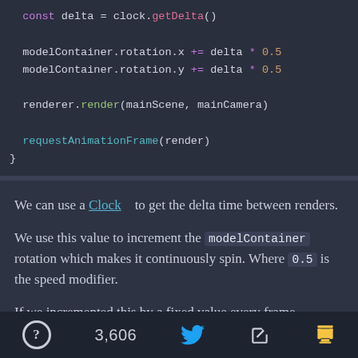const delta = clock.getDelta()

modelContainer.rotation.x += delta * 0.5
modelContainer.rotation.y += delta * 0.5

renderer.render(mainScene, mainCamera)

requestAnimationFrame(render)
}
We can use a Clock to get the delta time between renders.
We use this value to increment the modelContainer rotation which makes it continuously spin. Where 0.5 is the speed modifier.
If we incremented this by a fixed value every frame
? 3,606 [twitter] [share] [coffee]